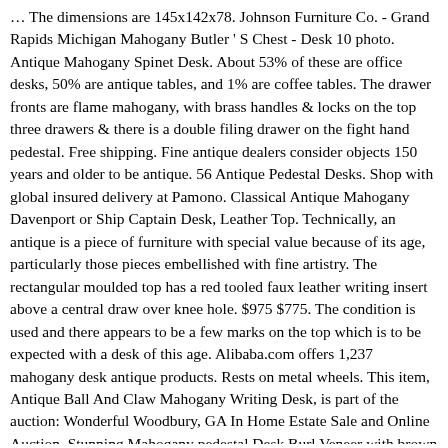… The dimensions are 145x142x78. Johnson Furniture Co. - Grand Rapids Michigan Mahogany Butler ' S Chest - Desk 10 photo. Antique Mahogany Spinet Desk. About 53% of these are office desks, 50% are antique tables, and 1% are coffee tables. The drawer fronts are flame mahogany, with brass handles & locks on the top three drawers & there is a double filing drawer on the fight hand pedestal. Free shipping. Fine antique dealers consider objects 150 years and older to be antique. 56 Antique Pedestal Desks. Shop with global insured delivery at Pamono. Classical Antique Mahogany Davenport or Ship Captain Desk, Leather Top. Technically, an antique is a piece of furniture with special value because of its age, particularly those pieces embellished with fine artistry. The rectangular moulded top has a red tooled faux leather writing insert above a central draw over knee hole. $975 $775. The condition is used and there appears to be a few marks on the top which is to be expected with a desk of this age. Alibaba.com offers 1,237 mahogany desk antique products. Rests on metal wheels. This item, Antique Ball And Claw Mahogany Writing Desk, is part of the auction: Wonderful Woodbury, GA In Home Estate Sale and Online Auction. Stunning Mahogany pedestal Desk Burl Veneer with brown leather top. 17 watching. Dimensions of top: 60" X 34" Posted by Uhuru Furniture & Collectibles - Oakland at 9:50 AM. Local Pickup. Check out this beautiful antique desk, waiting for your creativity to be brought to life. Sold. or Best Offer. $690. Lovely very old Mahogany writing table, has had the addition of a